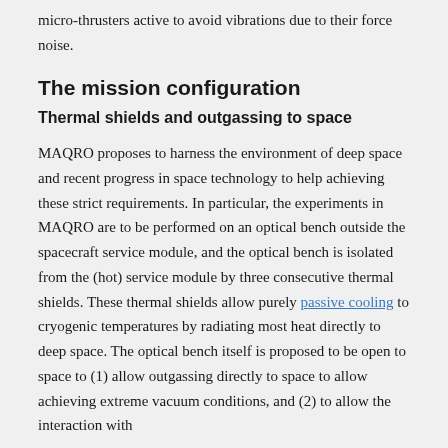micro-thrusters active to avoid vibrations due to their force noise.
The mission configuration
Thermal shields and outgassing to space
MAQRO proposes to harness the environment of deep space and recent progress in space technology to help achieving these strict requirements. In particular, the experiments in MAQRO are to be performed on an optical bench outside the spacecraft service module, and the optical bench is isolated from the (hot) service module by three consecutive thermal shields. These thermal shields allow purely passive cooling to cryogenic temperatures by radiating most heat directly to deep space. The optical bench itself is proposed to be open to space to (1) allow outgassing directly to space to allow achieving extreme vacuum conditions, and (2) to allow the interaction with